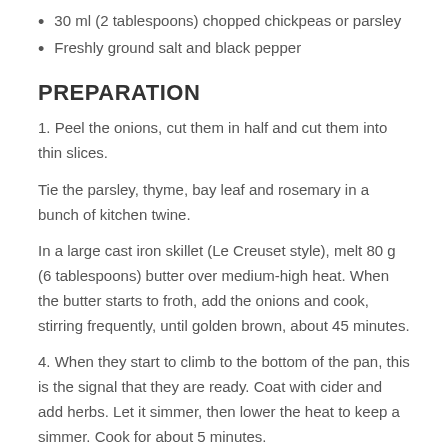30 ml (2 tablespoons) chopped chickpeas or parsley
Freshly ground salt and black pepper
PREPARATION
1. Peel the onions, cut them in half and cut them into thin slices.
Tie the parsley, thyme, bay leaf and rosemary in a bunch of kitchen twine.
In a large cast iron skillet (Le Creuset style), melt 80 g (6 tablespoons) butter over medium-high heat. When the butter starts to froth, add the onions and cook, stirring frequently, until golden brown, about 45 minutes.
4. When they start to climb to the bottom of the pan, this is the signal that they are ready. Coat with cider and add herbs. Let it simmer, then lower the heat to keep a simmer. Cook for about 5 minutes.